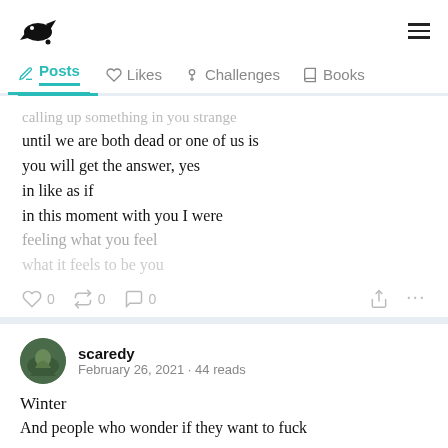[crow logo] Posts | Likes | Challenges | Books
until we are both dead or one of us is
you will get the answer, yes
in like as if
in this moment with you I were
feeling what you feel
[faded text]
0 likes  0 reposts  0 comments
scaredy
February 26, 2021 · 44 reads
Winter
And people who wonder if they want to fuck